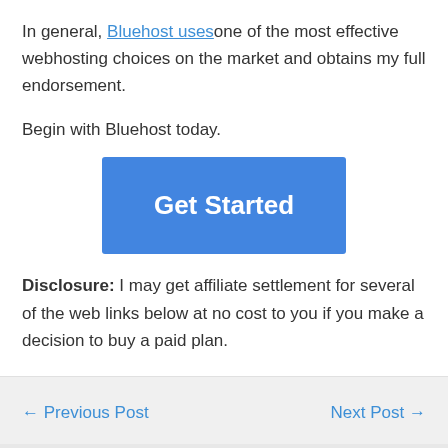In general, Bluehost uses one of the most effective webhosting choices on the market and obtains my full endorsement.
Begin with Bluehost today.
[Figure (other): Blue 'Get Started' call-to-action button]
Disclosure: I may get affiliate settlement for several of the web links below at no cost to you if you make a decision to buy a paid plan.
← Previous Post    Next Post →